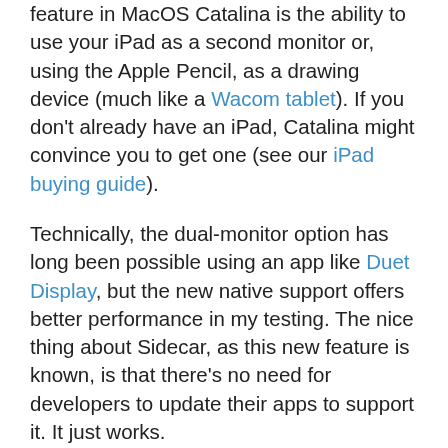feature in MacOS Catalina is the ability to use your iPad as a second monitor or, using the Apple Pencil, as a drawing device (much like a Wacom tablet). If you don't already have an iPad, Catalina might convince you to get one (see our iPad buying guide).
Technically, the dual-monitor option has long been possible using an app like Duet Display, but the new native support offers better performance in my testing. The nice thing about Sidecar, as this new feature is known, is that there's no need for developers to update their apps to support it. It just works.
Sidecar is useful for everything from keeping your Photoshop palettes on the iPad screen while you use a MacBook as a work canvas, to